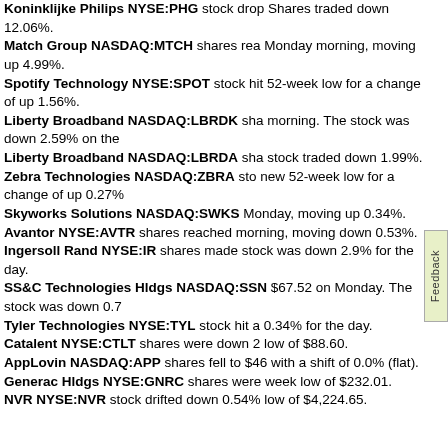Koninklijke Philips NYSE:PHG stock drop... Shares traded down 12.06%.
Match Group NASDAQ:MTCH shares rea... Monday morning, moving up 4.99%.
Spotify Technology NYSE:SPOT stock hit... 52-week low for a change of up 1.56%.
Liberty Broadband NASDAQ:LBRDK sha... morning. The stock was down 2.59% on the...
Liberty Broadband NASDAQ:LBRDA sha... stock traded down 1.99%.
Zebra Technologies NASDAQ:ZBRA sto... new 52-week low for a change of up 0.27%...
Skyworks Solutions NASDAQ:SWKS... Monday, moving up 0.34%.
Avantor NYSE:AVTR shares reached... morning, moving down 0.53%.
Ingersoll Rand NYSE:IR shares made... stock was down 2.9% for the day.
SS&C Technologies Hldgs NASDAQ:SSN... $67.52 on Monday. The stock was down 0.7...
Tyler Technologies NYSE:TYL stock hit a... 0.34% for the day.
Catalent NYSE:CTLT shares were down 2... low of $88.60.
AppLovin NASDAQ:APP shares fell to $46... with a shift of 0.0% (flat).
Generac Hldgs NYSE:GNRC shares were... week low of $232.01.
NVR NYSE:NVR stock drifted down 0.54%... low of $4,224.65.